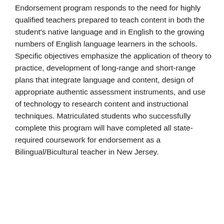Endorsement program responds to the need for highly qualified teachers prepared to teach content in both the student's native language and in English to the growing numbers of English language learners in the schools. Specific objectives emphasize the application of theory to practice, development of long-range and short-range plans that integrate language and content, design of appropriate authentic assessment instruments, and use of technology to research content and instructional techniques. Matriculated students who successfully complete this program will have completed all state-required coursework for endorsement as a Bilingual/Bicultural teacher in New Jersey.